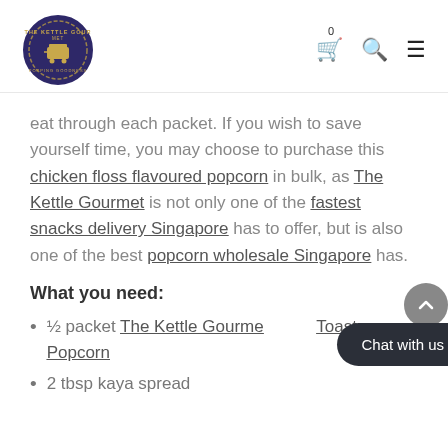The Kettle Gourmet logo and navigation icons (cart 0, search, menu)
eat through each packet. If you wish to save yourself time, you may choose to purchase this chicken floss flavoured popcorn in bulk, as The Kettle Gourmet is not only one of the fastest snacks delivery Singapore has to offer, but is also one of the best popcorn wholesale Singapore has.
What you need:
½ packet The Kettle Gourmet … Toast Popcorn
2 tbsp kaya spread